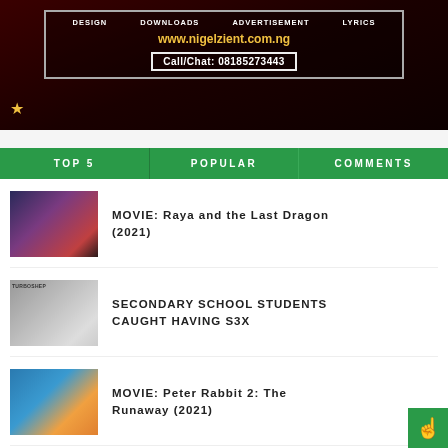[Figure (photo): Advertisement banner for nigelzient.com.ng website with red/dark background, showing navigation items DESIGN, DOWNLOADS, ADVERTISEMENT, LYRICS, website URL www.nigelzient.com.ng, and Call/Chat: 08185273443]
TOP 5 | POPULAR | COMMENTS
MOVIE: Raya and the Last Dragon (2021)
SECONDARY SCHOOL STUDENTS CAUGHT HAVING S3X
MOVIE: Peter Rabbit 2: The Runaway (2021)
MOVIE: The Tomorrow War (2021)